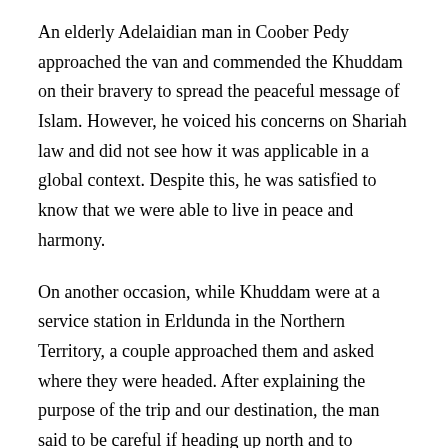An elderly Adelaidian man in Coober Pedy approached the van and commended the Khuddam on their bravery to spread the peaceful message of Islam. However, he voiced his concerns on Shariah law and did not see how it was applicable in a global context. Despite this, he was satisfied to know that we were able to live in peace and harmony.
On another occasion, while Khuddam were at a service station in Erldunda in the Northern Territory, a couple approached them and asked where they were headed. After explaining the purpose of the trip and our destination, the man said to be careful if heading up north and to perhaps take some spray paint. Upon asking why, the man said that there was some offensive and Islamophobic signage up north and that if he had spray paint, he would have removed it himself.
Similarly, one of the groups were staying at an Airbnb at Whyalla,